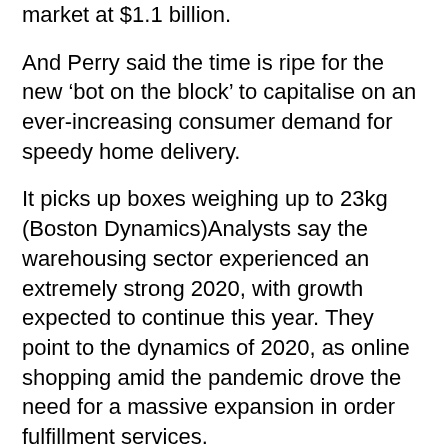market at $1.1 billion.
And Perry said the time is ripe for the new ‘bot on the block’ to capitalise on an ever-increasing consumer demand for speedy home delivery.
It picks up boxes weighing up to 23kg (Boston Dynamics)Analysts say the warehousing sector experienced an extremely strong 2020, with growth expected to continue this year. They point to the dynamics of 2020, as online shopping amid the pandemic drove the need for a massive expansion in order fulfillment services.
Boston Dynamics hasn’t released any pricing for Stretch, but said the system can be installed ‘without requiring costly reconfiguration or investments in new fixed